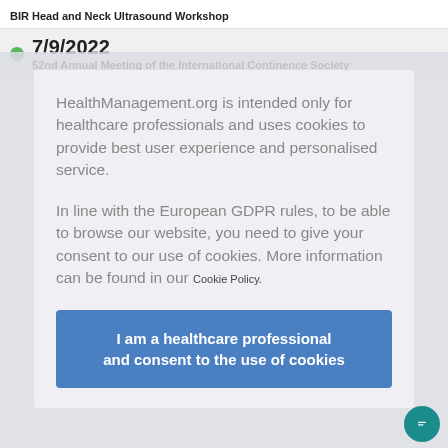BIR Head and Neck Ultrasound Workshop
7/9/2022
52nd Annual Meeting of the International Continence Society
HealthManagement.org is intended only for healthcare professionals and uses cookies to provide best user experience and personalised service.
In line with the European GDPR rules, to be able to browse our website, you need to give your consent to our use of cookies. More information can be found in our Cookie Policy.
I am a healthcare professional and consent to the use of cookies